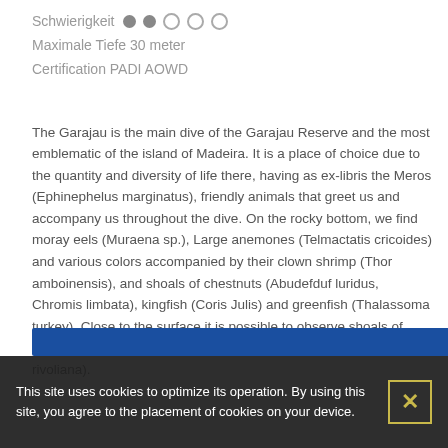Schwierigkeit ●● ○ ○ ○
Maximale Tiefe 30 meter
Certification PADI AOWD
The Garajau is the main dive of the Garajau Reserve and the most emblematic of the island of Madeira. It is a place of choice due to the quantity and diversity of life there, having as ex-libris the Meros (Ephinephelus marginatus), friendly animals that greet us and accompany us throughout the dive. On the rocky bottom, we find moray eels (Muraena sp.), Large anemones (Telmactatis cricoides) and various colors accompanied by their clown shrimp (Thor amboinensis), and shoals of chestnuts (Abudefduf luridus, Chromis limbata), kingfish (Coris Julis) and greenfish (Thalassoma turkey). Close to the surface it is possible to observe shoals of bicuda (Sphyraena viridensis) as well as charuteiros (Seriola rivoliana).
[Figure (other): Blue navigation bar/button area]
This site uses cookies to optimize its operation. By using this site, you agree to the placement of cookies on your device.